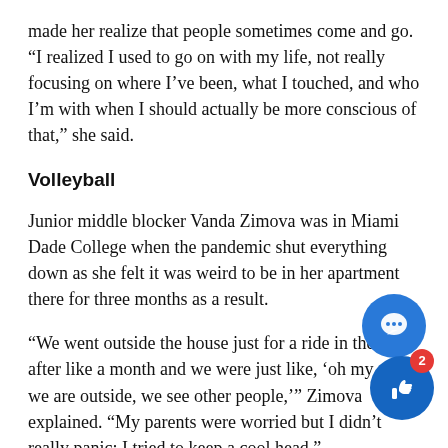made her realize that people sometimes come and go. “I realized I used to go on with my life, not really focusing on where I’ve been, what I touched, and who I’m with when I should actually be more conscious of that,” she said.
Volleyball
Junior middle blocker Vanda Zimova was in Miami Dade College when the pandemic shut everything down as she felt it was weird to be in her apartment there for three months as a result.
“We went outside the house just for a ride in the car after like a month and we were just like, ‘oh my god, we are outside, we see other people,’” Zimova explained. “My parents were worried but I didn’t really panic; I tried to keep a cool head.”
Zimova’s biggest difficulty going through it was not ha